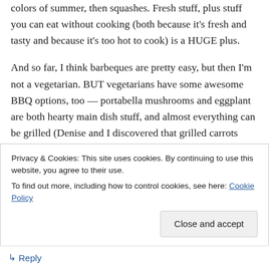colors of summer, then squashes. Fresh stuff, plus stuff you can eat without cooking (both because it's fresh and tasty and because it's too hot to cook) is a HUGE plus.

And so far, I think barbeques are pretty easy, but then I'm not a vegetarian. BUT vegetarians have some awesome BBQ options, too — portabella mushrooms and eggplant are both hearty main dish stuff, and almost everything can be grilled (Denise and I discovered that grilled carrots with hot sauce are *amazing.*)
Privacy & Cookies: This site uses cookies. By continuing to use this website, you agree to their use.
To find out more, including how to control cookies, see here: Cookie Policy
Close and accept
↳ Reply